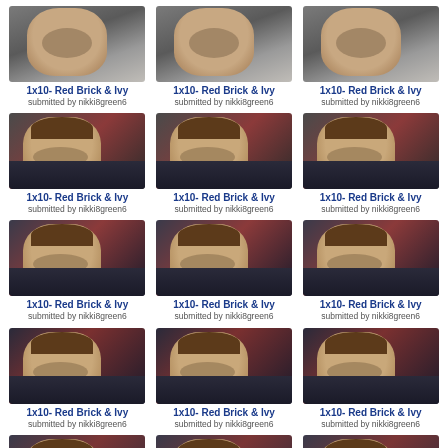[Figure (photo): Grid of 15 TV show screenshot thumbnails showing 1x10 Red Brick & Ivy, submitted by nikki8green6. Row 1: 3 thumbnails of an older man. Rows 2-5: 12 thumbnails of a younger man with brownish-red background. Each thumbnail is captioned '1x10- Red Brick & Ivy' and 'submitted by nikki8green6'.]